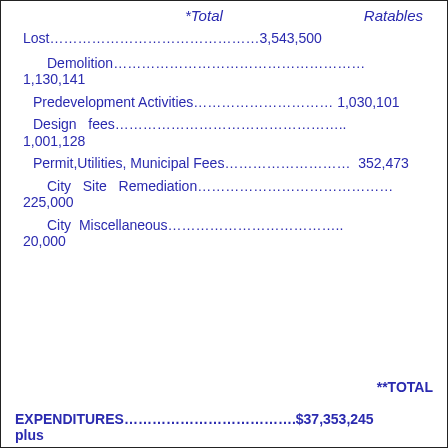*Total    Ratables
Lost………………………………………3,543,500
Demolition……………………………………………… 1,130,141
Predevelopment Activities………………………… 1,030,101
Design   fees………………………………………….. 1,001,128
Permit,Utilities, Municipal Fees…………………… 352,473
City   Site  Remediation……………………………… 225,000
City  Miscellaneous……………………………….. 20,000
**TOTAL EXPENDITURES……………………………….$37,353,245 plus